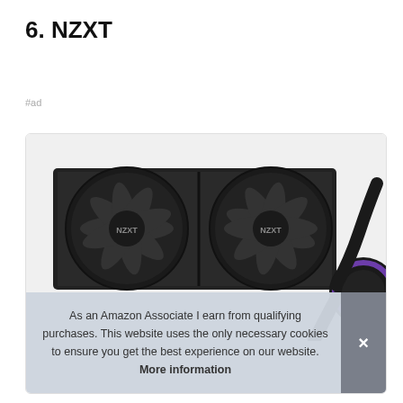6. NZXT
#ad
[Figure (photo): NZXT dual-fan liquid CPU cooler with purple RGB pump head, black fans with NZXT branding, shown on a light grey background inside a product card with rounded border.]
As an Amazon Associate I earn from qualifying purchases. This website uses the only necessary cookies to ensure you get the best experience on our website. More information